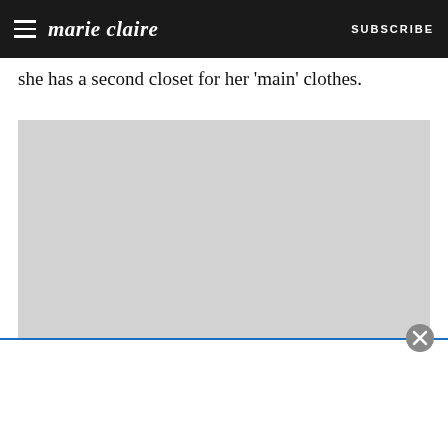marie claire | SUBSCRIBE
she has a second closet for her 'main' clothes.
[Figure (photo): Large light gray placeholder image, content not loaded]
[Figure (other): Advertisement overlay at bottom of page with close button]